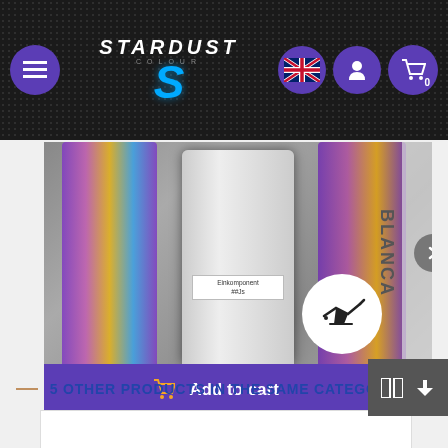STARDUST COLOURS - Navigation bar with menu, logo, language, account, and cart icons
[Figure (photo): Product photo of paint cans including a bi-component filler primer, showing metallic/iridescent cans with a spray gun icon on a white circle]
Add to cart
BI-COMPONENT FILLER PRIMER P410
34.56£
5 OTHER PRODUCTS IN THE SAME CATEGORY